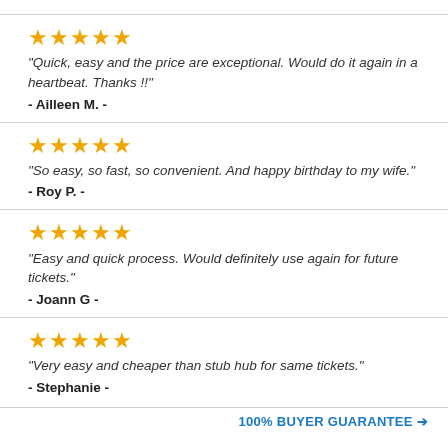★★★★★ "Quick, easy and the price are exceptional. Would do it again in a heartbeat. Thanks !!" - Ailleen M. -
★★★★★ "So easy, so fast, so convenient. And happy birthday to my wife." - Roy P. -
★★★★★ "Easy and quick process. Would definitely use again for future tickets." - Joann G -
★★★★★ "Very easy and cheaper than stub hub for same tickets." - Stephanie -
100% BUYER GUARANTEE →